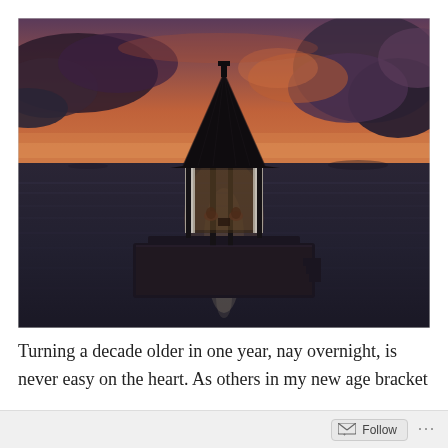[Figure (photo): A romantic over-water floating platform with a thatched roof gazebo at sunset. Two people are seated inside the open-sided hut on a wooden deck surrounded by calm dark ocean water. The sky is dramatic with orange and purple clouds at dusk.]
Turning a decade older in one year, nay overnight, is never easy on the heart. As others in my new age bracket
Follow ...